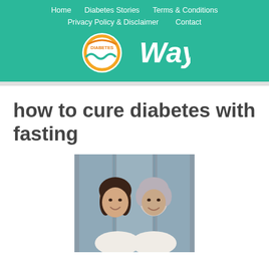Home | Diabetes Stories | Terms & Conditions | Privacy Policy & Disclaimer | Contact
[Figure (logo): DiabetesWay logo with orange circle and teal wave, white text saying 'Way']
how to cure diabetes with fasting
[Figure (photo): Two women smiling together, one younger with dark hair and one older with grey hair, both wearing white lace tops, in front of a grey door background]